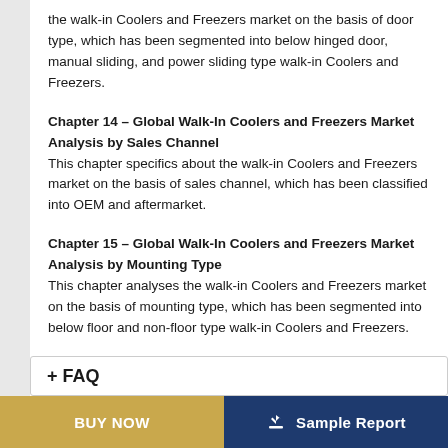the walk-in Coolers and Freezers market on the basis of door type, which has been segmented into below hinged door, manual sliding, and power sliding type walk-in Coolers and Freezers.
Chapter 14 – Global Walk-In Coolers and Freezers Market Analysis by Sales Channel
This chapter specifics about the walk-in Coolers and Freezers market on the basis of sales channel, which has been classified into OEM and aftermarket.
Chapter 15 – Global Walk-In Coolers and Freezers Market Analysis by Mounting Type
This chapter analyses the walk-in Coolers and Freezers market on the basis of mounting type, which has been segmented into below floor and non-floor type walk-in Coolers and Freezers.
BUY NOW    Sample Report